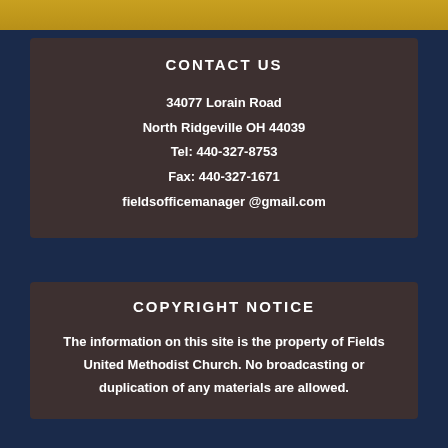[Figure (photo): Top portion of a decorative image with golden/yellow colors]
CONTACT US
34077 Lorain Road
North Ridgeville OH 44039
Tel: 440-327-8753
Fax: 440-327-1671
fieldsofficemanager @gmail.com
COPYRIGHT NOTICE
The information on this site is the property of Fields United Methodist Church. No broadcasting or duplication of any materials are allowed.